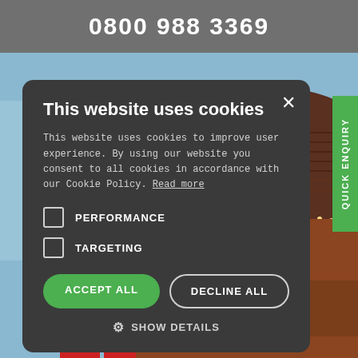0800 988 3369
[Figure (screenshot): Background photo of an ornate building with tiled roof and illuminated signage, partly visible behind cookie consent dialog]
QUICK ENQUIRY
This website uses cookies
This website uses cookies to improve user experience. By using our website you consent to all cookies in accordance with our Cookie Policy. Read more
PERFORMANCE
TARGETING
ACCEPT ALL
DECLINE ALL
SHOW DETAILS